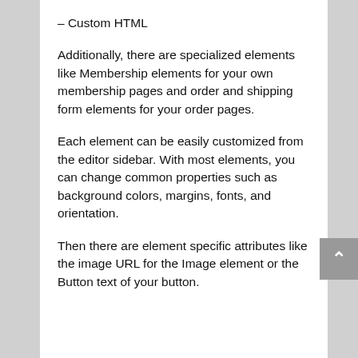– Custom HTML
Additionally, there are specialized elements like Membership elements for your own membership pages and order and shipping form elements for your order pages.
Each element can be easily customized from the editor sidebar. With most elements, you can change common properties such as background colors, margins, fonts, and orientation.
Then there are element specific attributes like the image URL for the Image element or the Button text of your button.